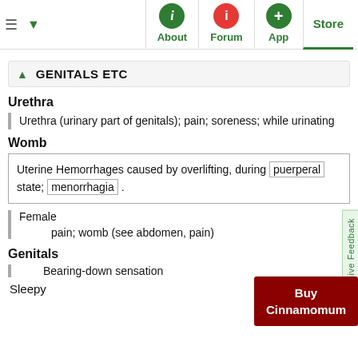Navigation bar with About, Forum, App, Store tabs
GENITALS ETC
Urethra
Urethra (urinary part of genitals); pain; soreness; while urinating
Womb
Uterine Hemorrhages caused by overlifting, during puerperal state; menorrhagia .
Female
pain; womb (see abdomen, pain)
Genitals
Bearing-down sensation
Sleepy